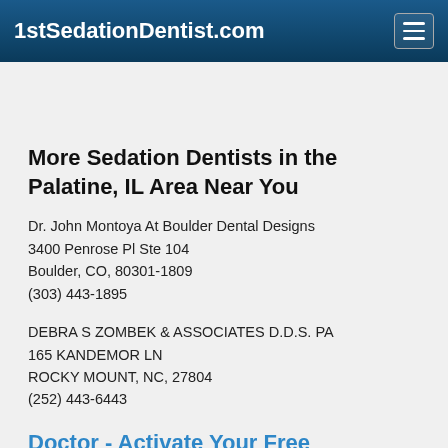1stSedationDentist.com
More Sedation Dentists in the Palatine, IL Area Near You
Dr. John Montoya At Boulder Dental Designs
3400 Penrose Pl Ste 104
Boulder, CO, 80301-1809
(303) 443-1895
DEBRA S ZOMBEK & ASSOCIATES D.D.S. PA
165 KANDEMOR LN
ROCKY MOUNT, NC, 27804
(252) 443-6443
Doctor - Activate Your Free 1stSedationDentist Directory Listing